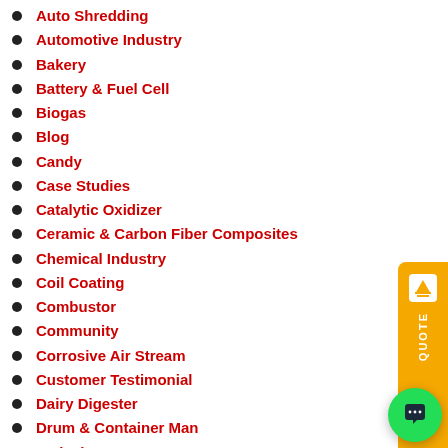Auto Shredding
Automotive Industry
Bakery
Battery & Fuel Cell
Biogas
Blog
Candy
Case Studies
Catalytic Oxidizer
Ceramic & Carbon Fiber Composites
Chemical Industry
Coil Coating
Combustor
Community
Corrosive Air Stream
Customer Testimonials
Dairy Digester
Drum & Container Man...
Emissions Capture
Engine Dyno Test Cell
Environmental and Regulatory
Ethylene Oxide
Expert Interviews
[Figure (screenshot): Orange QUOTE sidebar button with icon and rotated QUOTE text]
[Figure (screenshot): Chat popup overlay with close X button and message: How can we assist you with your Air Pollution Control needs? with green chat FAB button]